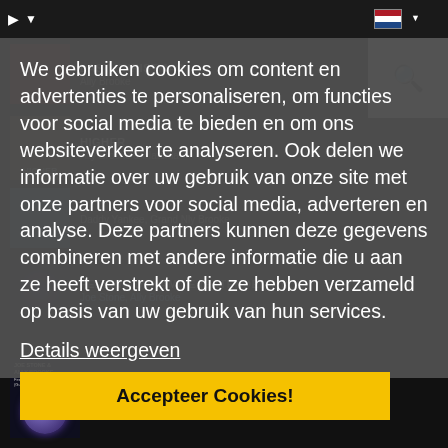Navigation bar with play controls and Dutch flag
[Figure (screenshot): Music streaming app background with album art thumbnails and track listings for Ally Brooke songs]
We gebruiken cookies om content en advertenties te personaliseren, om functies voor social media te bieden en om ons websiteverkeer te analyseren. Ook delen we informatie over uw gebruik van onze site met onze partners voor social media, adverteren en analyse. Deze partners kunnen deze gegevens combineren met andere informatie die u aan ze heeft verstrekt of die ze hebben verzameld op basis van uw gebruik van hun services.
Details weergeven
Accepteer Cookies!
FEELING DYNAMITE (GUZ EXTENDED MIX)
Joe Stone, Ally Brooke